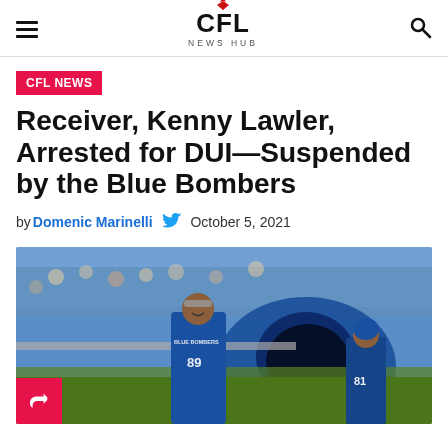CFL NEWS HUB
CFL NEWS
Receiver, Kenny Lawler, Arrested for DUI—Suspended by the Blue Bombers
by Domenic Marinelli   October 5, 2021
[Figure (photo): Football player wearing Blue Bombers jersey number 89 running out of a tunnel onto the field, smiling, with another player in jersey number 81 visible in background]